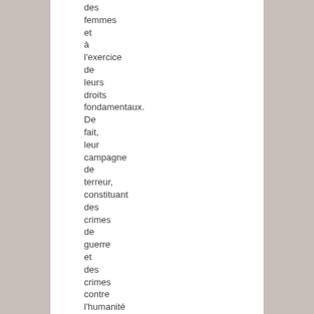des femmes et à l'exercice de leurs droits fondamentaux. De fait, leur campagne de terreur, constituant des crimes de guerre et des crimes contre l'humanité